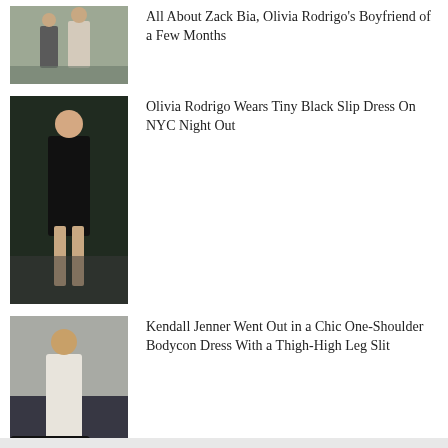[Figure (photo): Two people walking on a city street, one wearing a beige hoodie]
All About Zack Bia, Olivia Rodrigo's Boyfriend of a Few Months
[Figure (photo): Olivia Rodrigo wearing a tiny black slip dress on a NYC night out]
Olivia Rodrigo Wears Tiny Black Slip Dress On NYC Night Out
[Figure (photo): Kendall Jenner in a white chic one-shoulder bodycon dress with a thigh-high leg slit next to a black car]
Kendall Jenner Went Out in a Chic One-Shoulder Bodycon Dress With a Thigh-High Leg Slit